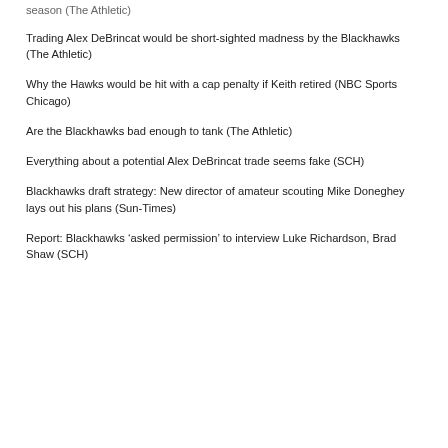Trading Alex DeBrincat would be short-sighted madness by the Blackhawks (The Athletic)
Why the Hawks would be hit with a cap penalty if Keith retired (NBC Sports Chicago)
Are the Blackhawks bad enough to tank (The Athletic)
Everything about a potential Alex DeBrincat trade seems fake (SCH)
Blackhawks draft strategy: New director of amateur scouting Mike Doneghey lays out his plans (Sun-Times)
Report: Blackhawks ‘asked permission’ to interview Luke Richardson, Brad Shaw (SCH)